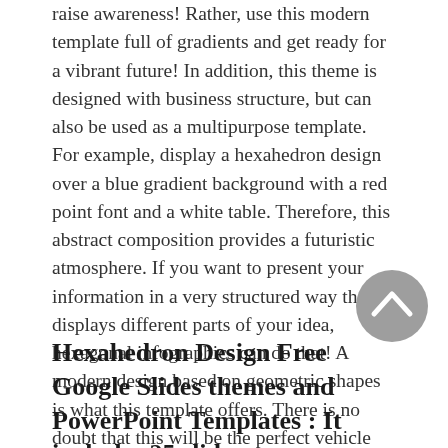raise awareness! Rather, use this modern template full of gradients and get ready for a vibrant future! In addition, this theme is designed with business structure, but can also be used as a multipurpose template. For example, display a hexahedron design over a blue gradient background with a red point font and a white table. Therefore, this abstract composition provides a futuristic atmosphere. If you want to present your information in a very structured way that displays different parts of your idea, hexagonal infographics can do that! A modern design based on geometric shapes is what this template offers. There is no doubt that this will be the perfect vehicle for your ideas.
[Figure (other): Gray circular back-to-top button with upward chevron arrow]
Hexahedron Design Free Google Slides themes and PowerPoint Templates : It includes 25 slides